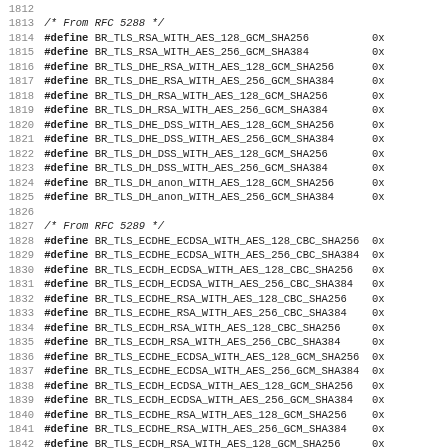Code listing lines 1811-1843: C preprocessor #define constants for TLS cipher suites from RFC 5288 and RFC 5289
1812
1813 /* From RFC 5288 */
1814 #define BR_TLS_RSA_WITH_AES_128_GCM_SHA256
1815 #define BR_TLS_RSA_WITH_AES_256_GCM_SHA384
1816 #define BR_TLS_DHE_RSA_WITH_AES_128_GCM_SHA256
1817 #define BR_TLS_DHE_RSA_WITH_AES_256_GCM_SHA384
1818 #define BR_TLS_DH_RSA_WITH_AES_128_GCM_SHA256
1819 #define BR_TLS_DH_RSA_WITH_AES_256_GCM_SHA384
1820 #define BR_TLS_DHE_DSS_WITH_AES_128_GCM_SHA256
1821 #define BR_TLS_DHE_DSS_WITH_AES_256_GCM_SHA384
1822 #define BR_TLS_DH_DSS_WITH_AES_128_GCM_SHA256
1823 #define BR_TLS_DH_DSS_WITH_AES_256_GCM_SHA384
1824 #define BR_TLS_DH_anon_WITH_AES_128_GCM_SHA256
1825 #define BR_TLS_DH_anon_WITH_AES_256_GCM_SHA384
1826
1827 /* From RFC 5289 */
1828 #define BR_TLS_ECDHE_ECDSA_WITH_AES_128_CBC_SHA256
1829 #define BR_TLS_ECDHE_ECDSA_WITH_AES_256_CBC_SHA384
1830 #define BR_TLS_ECDH_ECDSA_WITH_AES_128_CBC_SHA256
1831 #define BR_TLS_ECDH_ECDSA_WITH_AES_256_CBC_SHA384
1832 #define BR_TLS_ECDHE_RSA_WITH_AES_128_CBC_SHA256
1833 #define BR_TLS_ECDHE_RSA_WITH_AES_256_CBC_SHA384
1834 #define BR_TLS_ECDH_RSA_WITH_AES_128_CBC_SHA256
1835 #define BR_TLS_ECDH_RSA_WITH_AES_256_CBC_SHA384
1836 #define BR_TLS_ECDHE_ECDSA_WITH_AES_128_GCM_SHA256
1837 #define BR_TLS_ECDHE_ECDSA_WITH_AES_256_GCM_SHA384
1838 #define BR_TLS_ECDH_ECDSA_WITH_AES_128_GCM_SHA256
1839 #define BR_TLS_ECDH_ECDSA_WITH_AES_256_GCM_SHA384
1840 #define BR_TLS_ECDHE_RSA_WITH_AES_128_GCM_SHA256
1841 #define BR_TLS_ECDHE_RSA_WITH_AES_256_GCM_SHA384
1842 #define BR_TLS_ECDH_RSA_WITH_AES_128_GCM_SHA256
1843 #define BR_TLS_ECDH_RSA_WITH_AES_256_GCM_SHA384